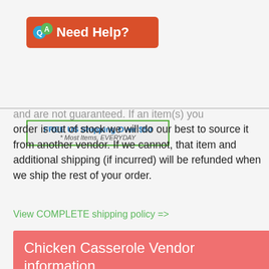[Figure (logo): Need Help? banner with orange/red background, Q&A speech bubble icon, white bold text]
[Figure (infographic): FREE US Shipping Over $50 box with green border, blue bold text, and italic subtitle '* Most Items, EVERYDAY']
and are not guaranteed. If an item(s) you order is out of stock we will do our best to source it from another vendor. If we cannot, that item and additional shipping (if incurred) will be refunded when we ship the rest of your order.
View COMPLETE shipping policy =>
Chicken Casserole Vendor information